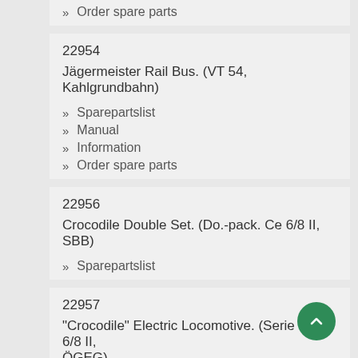» Order spare parts
22954
Jägermeister Rail Bus. (VT 54, Kahlgrundbahn)
» Sparepartslist
» Manual
» Information
» Order spare parts
22956
Crocodile Double Set. (Do.-pack. Ce 6/8 II, SBB)
» Sparepartslist
22957
"Crocodile" Electric Locomotive. (Serie Be 6/8 II, ÖGEG)
» Sparepartslist
» Manual
» Order spare parts